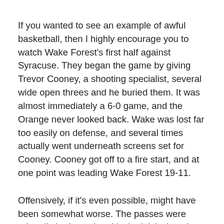If you wanted to see an example of awful basketball, then I highly encourage you to watch Wake Forest's first half against Syracuse. They began the game by giving Trevor Cooney, a shooting specialist, several wide open threes and he buried them. It was almost immediately a 6-0 game, and the Orange never looked back. Wake was lost far too easily on defense, and several times actually went underneath screens set for Cooney. Cooney got off to a fire start, and at one point was leading Wake Forest 19-11.
Offensively, if it's even possible, might have been somewhat worse. The passes were primarily horizontal and lackadaisical against the length of the zone